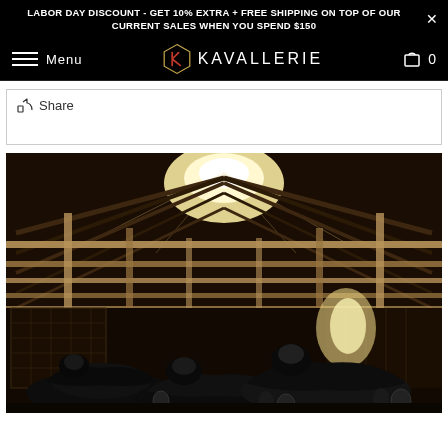LABOR DAY DISCOUNT - GET 10% EXTRA + FREE SHIPPING ON TOP OF OUR CURRENT SALES WHEN YOU SPEND $150
Menu  KAVALLERIE  0
Share
[Figure (photo): Interior of a horse barn/stable showing wooden roof structure with metal trusses and beams, bright light coming through the roof, and multiple dark horse saddles stored on racks in the foreground.]